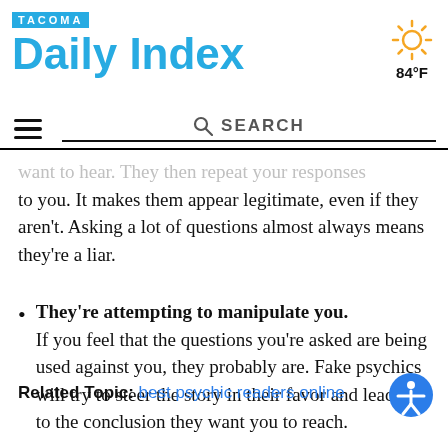TACOMA Daily Index
want to hear. They then repeat your responses to you. It makes them appear legitimate, even if they aren't. Asking a lot of questions almost always means they're a liar.
They're attempting to manipulate you. If you feel that the questions you're asked are being used against you, they probably are. Fake psychics will try to steer the story in their favor and lead you to the conclusion they want you to reach.
Related Topic: best psychic readers online